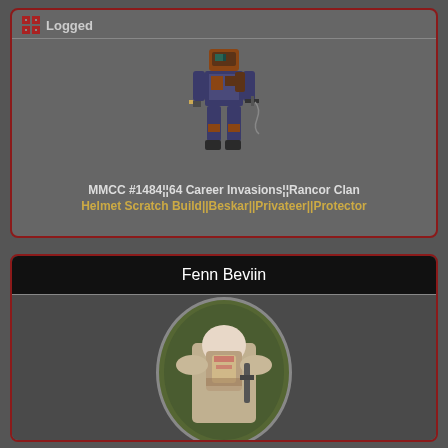Logged
[Figure (illustration): Pixel art character sprite of a Mandalorian figure in armor with weapons]
MMCC #1484¦¦64 Career Invasions¦¦Rancor Clan
Helmet Scratch Build||Beskar||Privateer||Protector
Fenn Beviin
[Figure (photo): Oval-framed photograph of a person in Mandalorian cosplay armor, viewed from behind/side, outdoors with greenery in background]